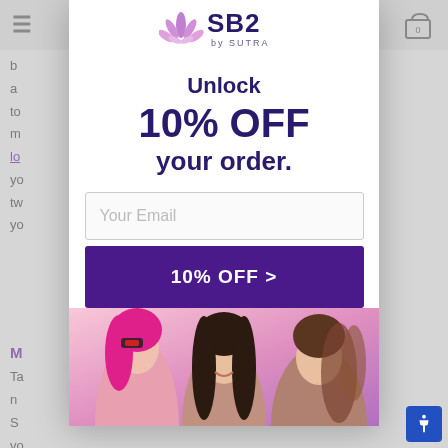[Figure (logo): SB2 by SUTRA brand logo with purple lotus flower icon]
Unlock 10% OFF your order.
Your Email
10% OFF >
[Figure (photo): Three women with styled hair on pink-purple gradient background]